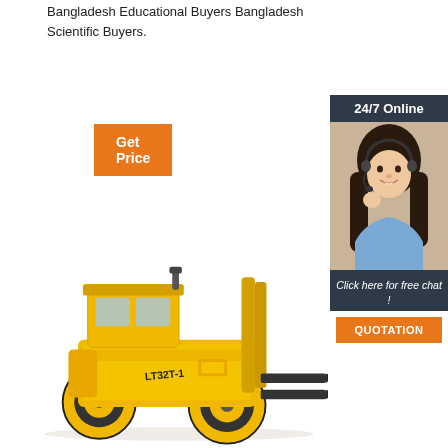Bangladesh Educational Buyers Bangladesh Scientific Buyers.
Get Price
[Figure (illustration): Sidebar widget with '24/7 Online' header, photo of smiling woman with headset, 'Click here for free chat!' text, and orange QUOTATION button]
[Figure (photo): Yellow LT32T-1 forklift loader on white background]